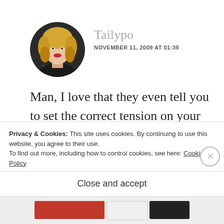[Figure (photo): Circular avatar photo of a woman with curly blonde hair and red lips]
Tailypo
NOVEMBER 11, 2009 AT 01:39
Man, I love that they even tell you to set the correct tension on your sewing machine and overlock, then set the correct temperature on your iron. That is
Privacy & Cookies: This site uses cookies. By continuing to use this website, you agree to their use.
To find out more, including how to control cookies, see here: Cookie Policy
Close and accept